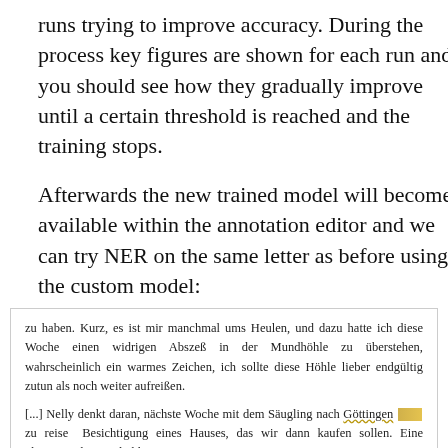runs trying to improve accuracy. During the process key figures are shown for each run and you should see how they gradually improve until a certain threshold is reached and the training stops.
Afterwards the new trained model will become available within the annotation editor and we can try NER on the same letter as before using the custom model:
zu haben. Kurz, es ist mir manchmal ums Heulen, und dazu hatte ich diese Woche einen widrigen Abszeß in der Mundhöhle zu überstehen, wahrscheinlich ein warmes Zeichen, ich sollte diese Höhle lieber endgültig zutun als noch weiter aufreißen.

[...] Nelly denkt daran, nächste Woche mit dem Säugling nach Göttingen [mark] zu reisen Besichtigung eines Hauses, das wir dann kaufen sollen. Eine phantastische Möglichkeit